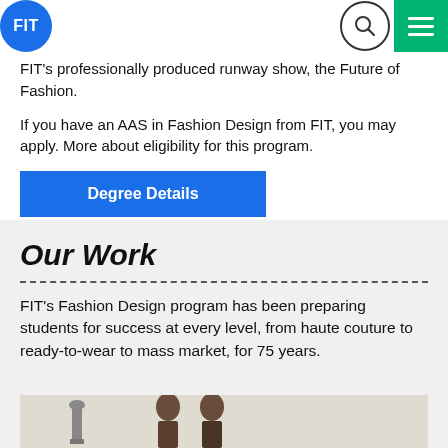FIT
FIT’s professionally produced runway show, the Future of Fashion.
If you have an AAS in Fashion Design from FIT, you may apply. More about eligibility for this program.
Degree Details
Our Work
FIT’s Fashion Design program has been preparing students for success at every level, from haute couture to ready-to-wear to mass market, for 75 years.
[Figure (photo): Fashion design students or models photographed for FIT Our Work section]